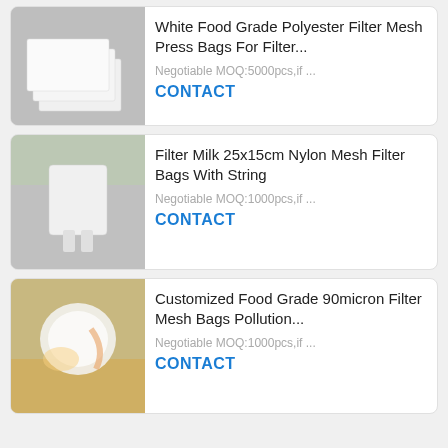[Figure (photo): White polyester filter mesh press bags stacked on gray background]
White Food Grade Polyester Filter Mesh Press Bags For Filter...
Negotiable MOQ:5000pcs,if ...
CONTACT
[Figure (photo): Nylon mesh filter bag with string, white, shown in use for filtering]
Filter Milk 25x15cm Nylon Mesh Filter Bags With String
Negotiable MOQ:1000pcs,if ...
CONTACT
[Figure (photo): Food grade 90 micron filter mesh bag being used with liquid, warm tones]
Customized Food Grade 90micron Filter Mesh Bags Pollution...
Negotiable MOQ:1000pcs,if ...
CONTACT